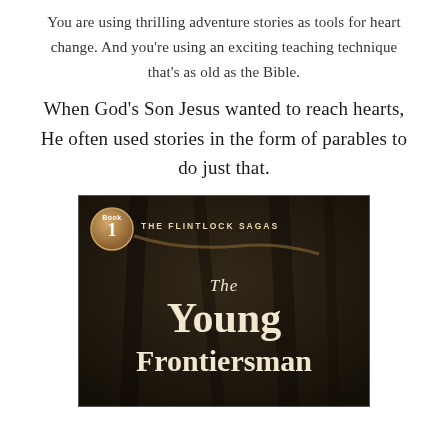You are using thrilling adventure stories as tools for heart change. And you're using an exciting teaching technique that's as old as the Bible.
When God's Son Jesus wanted to reach hearts, He often used stories in the form of parables to do just that.
[Figure (illustration): Book cover for 'The Young Frontiersman', Book 1 of The Flintlock Sagas series. Dark forest background with 'Book 1' badge, series title 'THE FLINTLOCK SAGAS', and large title text 'The Young Frontiersman' in cream/off-white serif font.]